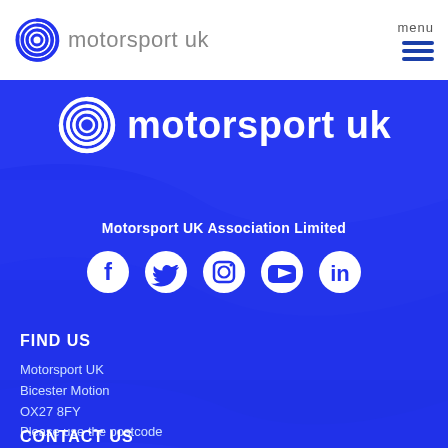[Figure (logo): Motorsport UK logo in top navigation bar — spiral icon in blue with 'motorsport uk' text in grey]
[Figure (logo): Large Motorsport UK logo on blue background — white spiral icon with 'motorsport uk' white text]
Motorsport UK Association Limited
[Figure (infographic): Social media icons row: Facebook, Twitter, Instagram, YouTube, LinkedIn — all white on blue background]
FIND US
Motorsport UK
Bicester Motion
OX27 8FY
Please use the postcode
OX26 5HA in your Sat Nav
CONTACT US